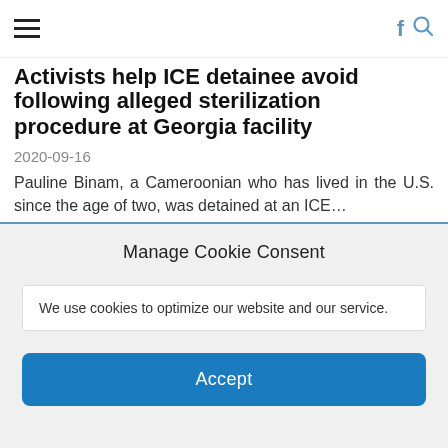Navigation bar with hamburger menu and Facebook/search icons
Activists help ICE detainee avoid deportation following alleged sterilization procedure at Georgia facility
2020-09-16
Pauline Binam, a Cameroonian who has lived in the U.S. since the age of two, was detained at an ICE…
Lawmakers demand probe into 'horrifying' allegations of neglect, mass hysterectomies at ICE Detention Center
2020-09-16
"These allegations are part of a larger pattern of reproductive injustices conducted by ICE officials." by Lisa Newcomb, staff writer…
Manage Cookie Consent
We use cookies to optimize our website and our service.
Accept